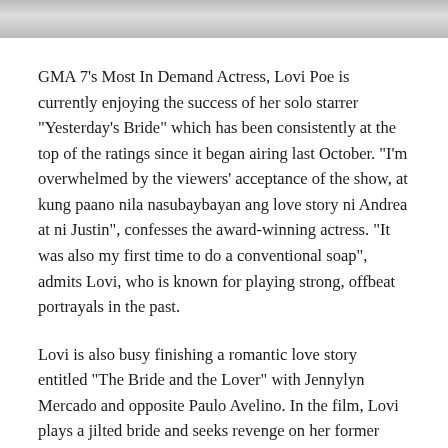[Figure (photo): Partial photo strip at the top of the page, showing cropped image(s) of people]
GMA 7's Most In Demand Actress, Lovi Poe is currently enjoying the success of her solo starrer "Yesterday's Bride" which has been consistently at the top of the ratings since it began airing last October. "I'm overwhelmed by the viewers' acceptance of the show, at kung paano nila nasubaybayan ang love story ni Andrea at ni Justin", confesses the award-winning actress. "It was also my first time to do a conventional soap", admits Lovi, who is known for playing strong, offbeat portrayals in the past.
Lovi is also busy finishing a romantic love story entitled "The Bride and the Lover" with Jennylyn Mercado and opposite Paulo Avelino. In the film, Lovi plays a jilted bride and seeks revenge on her former lover Paulo and